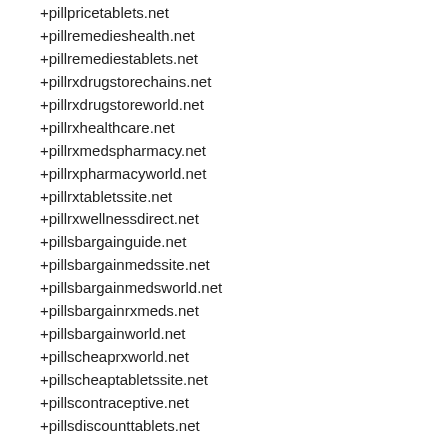+pillpricetablets.net
+pillremedieshealth.net
+pillremediestablets.net
+pillrxdrugstorechains.net
+pillrxdrugstoreworld.net
+pillrxhealthcare.net
+pillrxmedspharmacy.net
+pillrxpharmacyworld.net
+pillrxtabletssite.net
+pillrxwellnessdirect.net
+pillsbargainguide.net
+pillsbargainmedssite.net
+pillsbargainmedsworld.net
+pillsbargainrxmeds.net
+pillsbargainworld.net
+pillscheaprxworld.net
+pillscheaptabletssite.net
+pillscontraceptive.net
+pillsdiscounttablets.net